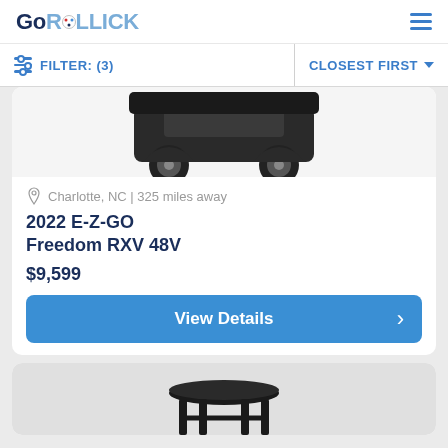GoROLLICK
FILTER: (3)   CLOSEST FIRST
[Figure (photo): Partial top view of a dark-colored golf cart (E-Z-GO Freedom RXV 48V) showing the body and wheels on a white/light gray background]
Charlotte, NC | 325 miles away
2022 E-Z-GO Freedom RXV 48V
$9,599
View Details
[Figure (photo): Partial view of a second product listing showing a dark seat or stool on a gray background, cropped at bottom of page]